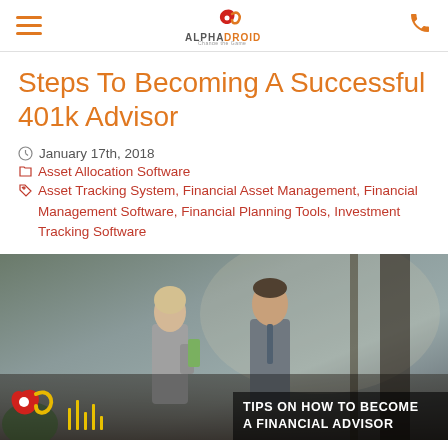AlphaDroid — Change the Game
Steps To Becoming A Successful 401k Advisor
January 17th, 2018
Asset Allocation Software
Asset Tracking System, Financial Asset Management, Financial Management Software, Financial Planning Tools, Investment Tracking Software
[Figure (photo): Two business professionals (a woman and a man in suits) walking together in an office corridor. Overlay text reads: TIPS ON HOW TO BECOME A FINANCIAL ADVISOR. AlphaDroid logo in corner with vertical yellow lines graphic element.]